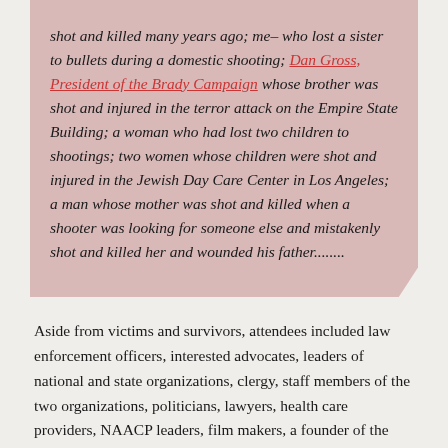shot and killed many years ago; me– who lost a sister to bullets during a domestic shooting; Dan Gross, President of the Brady Campaign whose brother was shot and injured in the terror attack on the Empire State Building; a woman who had lost two children to shootings; two women whose children were shot and injured in the Jewish Day Care Center in Los Angeles; a man whose mother was shot and killed when a shooter was looking for someone else and mistakenly shot and killed her and wounded his father........
Aside from victims and survivors, attendees included law enforcement officers, interested advocates, leaders of national and state organizations, clergy, staff members of the two organizations, politicians, lawyers, health care providers, NAACP leaders, film makers, a founder of the Women's March, and many others.
Politicians who spoke to and with us: